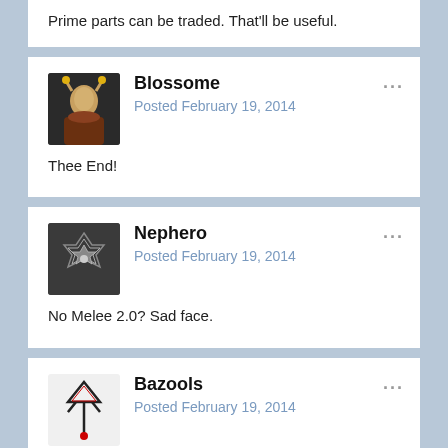Prime parts can be traded. That'll be useful.
Blossome
Posted February 19, 2014
Thee End!
Nephero
Posted February 19, 2014
No Melee 2.0? Sad face.
Bazools
Posted February 19, 2014
Thanks for all of that but where are the performance related fixe...